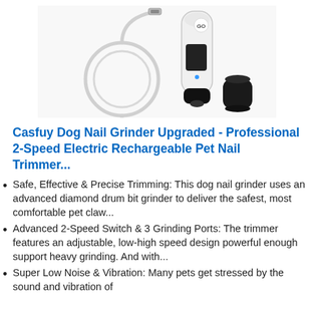[Figure (photo): Product photo showing a white electric pet nail grinder device, a white USB charging cable coiled in a loop, and a small black cylindrical cap/attachment. White background.]
Casfuy Dog Nail Grinder Upgraded - Professional 2-Speed Electric Rechargeable Pet Nail Trimmer...
Safe, Effective & Precise Trimming: This dog nail grinder uses an advanced diamond drum bit grinder to deliver the safest, most comfortable pet claw...
Advanced 2-Speed Switch & 3 Grinding Ports: The trimmer features an adjustable, low-high speed design powerful enough support heavy grinding. And with...
Super Low Noise & Vibration: Many pets get stressed by the sound and vibration of